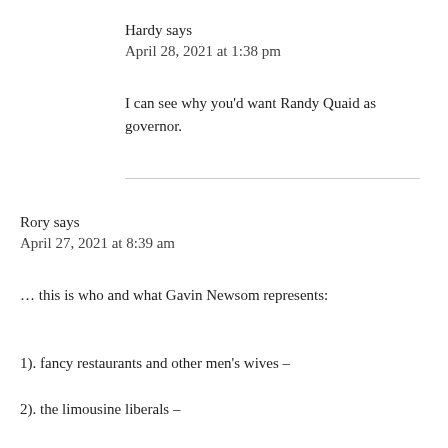Hardy says
April 28, 2021 at 1:38 pm
I can see why you’d want Randy Quaid as governor.
Rory says
April 27, 2021 at 8:39 am
… this is who and what Gavin Newsom represents:
1). fancy restaurants and other men’s wives –
2). the limousine liberals –